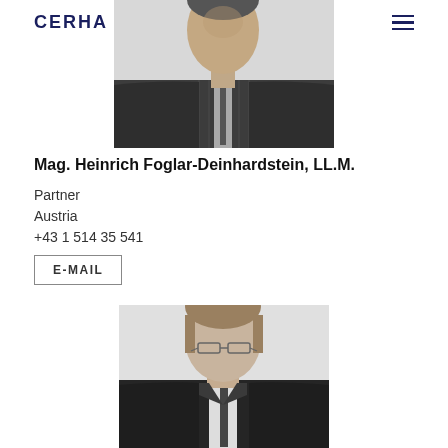CERHA HEMPEL
[Figure (photo): Black and white headshot of Mag. Heinrich Foglar-Deinhardstein — torso and upper body in dark suit, partial crop at top of page]
Mag. Heinrich Foglar-Deinhardstein, LL.M.
Partner
Austria
+43 1 514 35 541
E-MAIL
[Figure (photo): Black and white headshot of second lawyer — man with glasses, light hair, dark suit with tie]